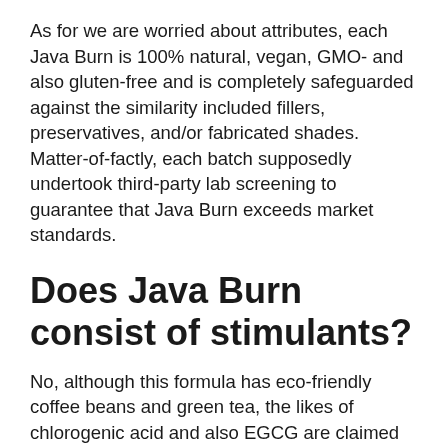As for we are worried about attributes, each Java Burn is 100% natural, vegan, GMO- and also gluten-free and is completely safeguarded against the similarity included fillers, preservatives, and/or fabricated shades. Matter-of-factly, each batch supposedly undertook third-party lab screening to guarantee that Java Burn exceeds market standards.
Does Java Burn consist of stimulants?
No, although this formula has eco-friendly coffee beans and green tea, the likes of chlorogenic acid and also EGCG are claimed to lower energizer impacts, but do not elicit